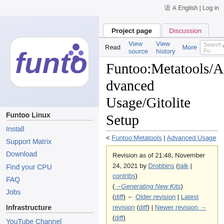English | Log in
[Figure (logo): Funtoo Linux logo — stylized purple 'funto' text on a white pill-shaped badge with gaming controller motif]
Project page | Discussion | Read | View source | View history | More | Search Funtoo
Funtoo:Metatools/Advanced Usage/Gitolite Setup
< Funtoo:Metatools | Advanced Usage
Revision as of 21:48, November 24, 2021 by Drobbins (talk | contribs) (→Generating New Kits) (diff) ← Older revision | Latest revision (diff) | Newer revision → (diff)
Overview
For our local development setup, we will be using gitolite. Gitolite will make things quite a bit easier by
Funtoo Linux
Install
Support Matrix
Download
Find your CPU
FAQ
Jobs
Infrastructure
YouTube Channel
Discord (En)
Telegram (En/Pt)
Report a Bug